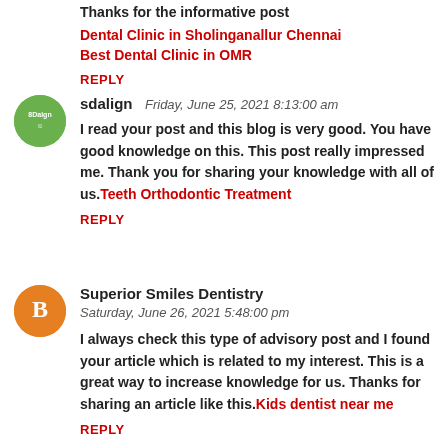Thanks for the informative post
Dental Clinic in Sholinganallur Chennai
Best Dental Clinic in OMR
REPLY
[Figure (illustration): Green circular avatar with 'SDAign' text]
sdalign  Friday, June 25, 2021 8:13:00 am
I read your post and this blog is very good. You have good knowledge on this. This post really impressed me. Thank you for sharing your knowledge with all of us.Teeth Orthodontic Treatment
REPLY
[Figure (illustration): Orange circular avatar with blogger 'B' icon]
Superior Smiles Dentistry  Saturday, June 26, 2021 5:48:00 pm
I always check this type of advisory post and I found your article which is related to my interest. This is a great way to increase knowledge for us. Thanks for sharing an article like this.Kids dentist near me
REPLY